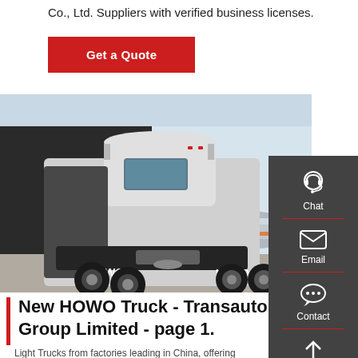Co., Ltd. Suppliers with verified business licenses.
Get a Quote
[Figure (photo): Rear view of a HOWO heavy-duty truck tractor (6x4) parked on a concrete lot in front of a dark industrial building, with a tanker trailer visible in the background. The truck has HOWO branding on the rear.]
Chat
Email
Contact
Top
New HOWO Truck - Transauto Group Limited - page 1.
Light Trucks from factories leading in China, offering